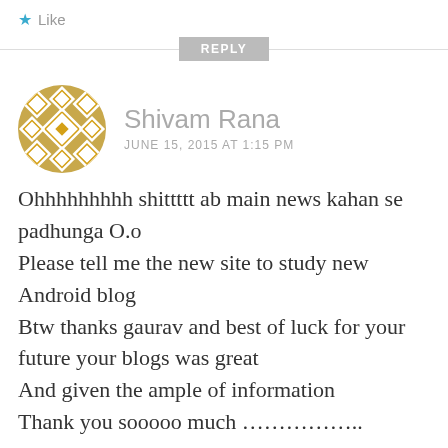★ Like
REPLY
[Figure (illustration): Golden geometric/mosaic circular avatar icon for user Shivam Rana]
Shivam Rana
JUNE 15, 2015 AT 1:15 PM
Ohhhhhhhhh shittttt ab main news kahan se padhunga O.o
Please tell me the new site to study new Android blog
Btw thanks gaurav and best of luck for your future your blogs was great
And given the ample of information
Thank you sooooo much …………….